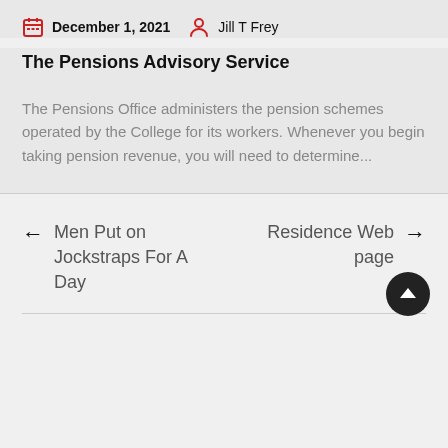December 1, 2021   Jill T Frey
The Pensions Advisory Service
The Pensions Office administers the pension schemes operated by the College for its workers. Whenever you begin taking pension revenue, you will need to determine...
← Men Put on Jockstraps For A Day
Residence Web page →